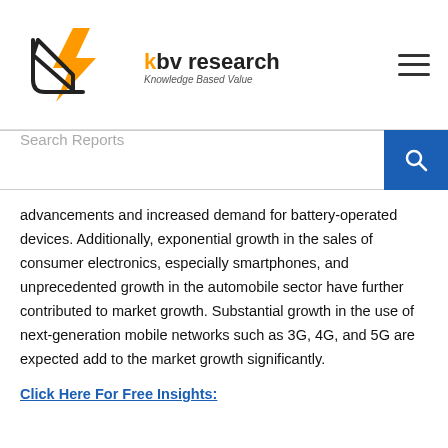KBV Research - Knowledge Based Value
advancements and increased demand for battery-operated devices. Additionally, exponential growth in the sales of consumer electronics, especially smartphones, and unprecedented growth in the automobile sector have further contributed to market growth. Substantial growth in the use of next-generation mobile networks such as 3G, 4G, and 5G are expected add to the market growth significantly.
Click Here For Free Insights:
Adding to the aforementioned factors, increased adoption of data centers, substantial growth within the light emitting diode (LED) market, growing awareness